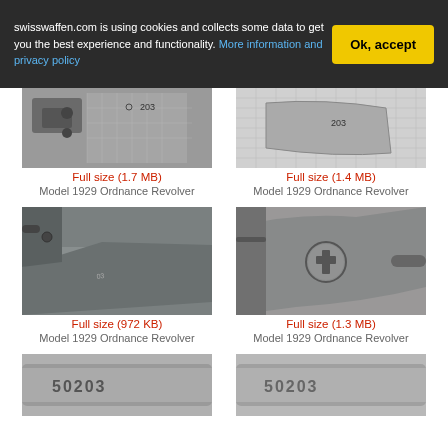swisswaffen.com is using cookies and collects some data to get you the best experience and functionality. More information and privacy policy
[Figure (photo): Close-up photo of Model 1929 Ordnance Revolver mechanism, serial number 203 visible, top-left image]
[Figure (photo): Close-up photo of Model 1929 Ordnance Revolver, serial number 203 visible, top-right image]
Full size (1.7 MB)
Full size (1.4 MB)
Model 1929 Ordnance Revolver
Model 1929 Ordnance Revolver
[Figure (photo): Close-up photo of Model 1929 Ordnance Revolver frame/grip area, middle-left image]
[Figure (photo): Close-up photo of Model 1929 Ordnance Revolver showing a circular proof mark/stamp, middle-right image]
Full size (972 KB)
Full size (1.3 MB)
Model 1929 Ordnance Revolver
Model 1929 Ordnance Revolver
[Figure (photo): Close-up photo of Model 1929 Ordnance Revolver barrel/cylinder showing serial number 50203, bottom-left image (partially visible)]
[Figure (photo): Close-up photo of Model 1929 Ordnance Revolver barrel/cylinder showing serial number 50203, bottom-right image (partially visible)]